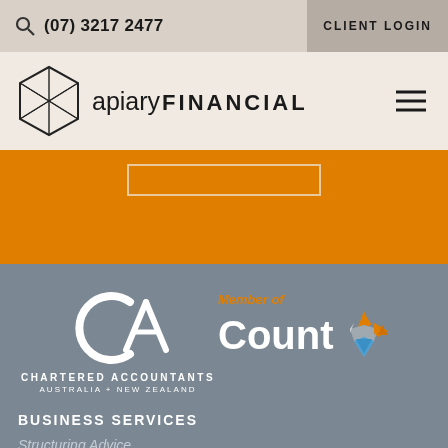🔍 (07) 3217 2477   CLIENT LOGIN
[Figure (logo): Apiary Financial logo — hexagonal icon with grid lines and text 'apiary FINANCIAL']
[Figure (illustration): Orange band with a rectangular outline button]
[Figure (logo): Chartered Accountants Australia + New Zealand logo (CA monogram in white) and Member of Count logo with coloured star icon]
BUSINESS SERVICES
Structuring Advice